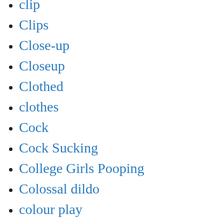clip
Clips
Close-up
Closeup
Clothed
clothes
Cock
Cock Sucking
College Girls Pooping
Colossal dildo
colour play
compilation
Completely Covered
Completely submerged
Copro
Copro Solo
Coprophagia (Shit Eating )